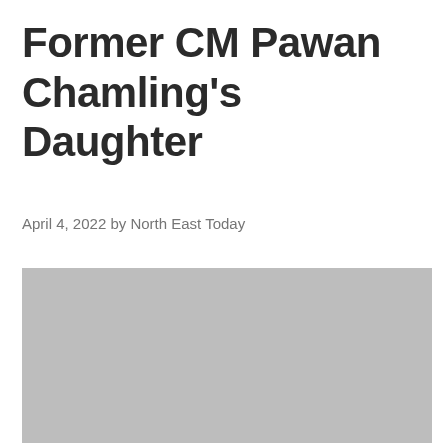Former CM Pawan Chamling's Daughter
April 4, 2022 by North East Today
[Figure (photo): Gray placeholder image, content not visible]